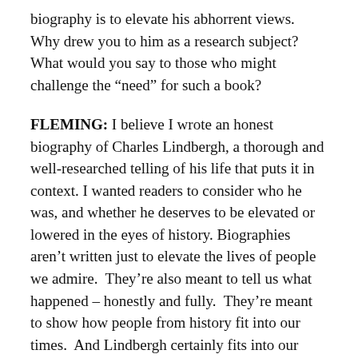biography is to elevate his abhorrent views. Why drew you to him as a research subject? What would you say to those who might challenge the “need” for such a book?
FLEMING: I believe I wrote an honest biography of Charles Lindbergh, a thorough and well-researched telling of his life that puts it in context. I wanted readers to consider who he was, and whether he deserves to be elevated or lowered in the eyes of history. Biographies aren’t written just to elevate the lives of people we admire.  They’re also meant to tell us what happened – honestly and fully.  They’re meant to show how people from history fit into our times.  And Lindbergh certainly fits into our times.  It was current events that compelled me to write this book.  Echoes of his past had become part of my daily present –political rallies seething with rage, attacks on the press, xenophobia, racism. America